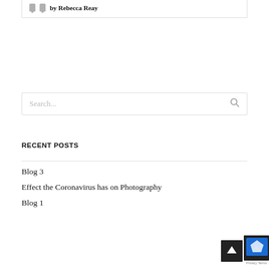by Rebecca Reay
Search...
RECENT POSTS
Blog 3
Effect the Coronavirus has on Photography
Blog 1